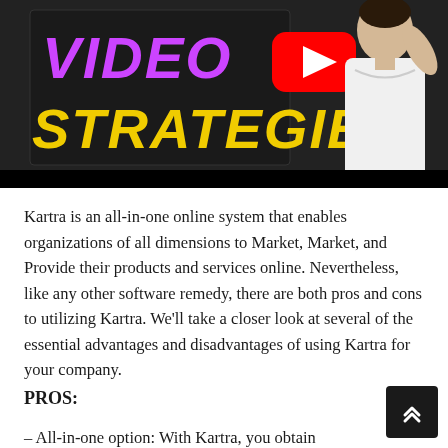[Figure (screenshot): YouTube-style video thumbnail showing text 'VIDEO' in purple and 'STRATEGIES' in yellow on dark background, with a YouTube play button icon and a person in white shirt on the right]
Kartra is an all-in-one online system that enables organizations of all dimensions to Market, Market, and Provide their products and services online. Nevertheless, like any other software remedy, there are both pros and cons to utilizing Kartra. We'll take a closer look at several of the essential advantages and disadvantages of using Kartra for your company.
PROS:
– All-in-one option: With Kartra, you obtain